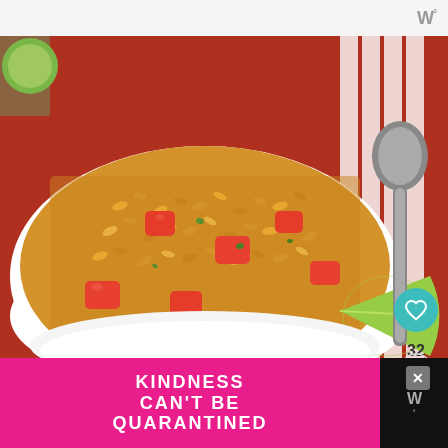W°
[Figure (photo): A white bowl filled with Mexican-style fried rice topped with diced tomatoes, cilantro, and a lime wedge, with a silver spoon on a striped red and white cloth in the background.]
Once you discover how easy this recipe is, you will make it time and time again!
[Figure (photo): WHAT'S NEXT → Instant Pot Hamburgers thumbnail showing a burger]
[Figure (infographic): Pink advertisement banner with text: KINDNESS CAN'T BE QUARANTINED with a close button]
H... rican